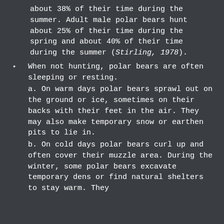about 38% of their time during the summer. Adult male polar bears hunt about 25% of their time during the spring and about 40% of their time during the summer (Stirling, 1978).
When not hunting, polar bears are often sleeping or resting.
a. On warm days polar bears sprawl out on the ground or ice, sometimes on their backs with their feet in the air. They may also make temporary snow or earthen pits to lie in.
b. On cold days polar bears curl up and often cover their muzzle area. During the winter, some polar bears excavate temporary dens or find natural shelters to stay warm. They